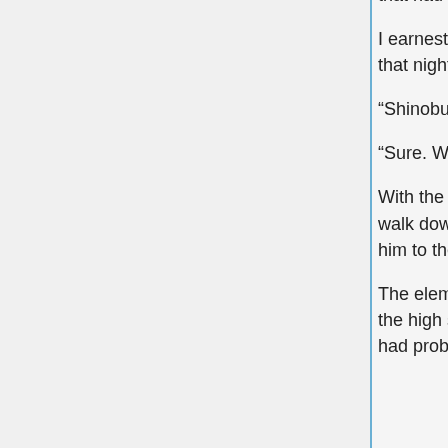that had vanished from his mind.
I earnestly hoped that a small storm was not approaching the Jinnai house for that night.
“Shinobu, the elementary school is this way.”
“Sure. With this baby duck ball, I’m not afraid of anything!!”
With the legendary Baby Duck Shooter in hand, he grew too bold and tried to walk down the center of the road, so I grabbed the nape of his neck and pulled him to the side of the road.
The elementary school he would begin to attend come April was quite close to the high school. The middle school was also nearby, so the village planners had probably vaguely decided “the schools